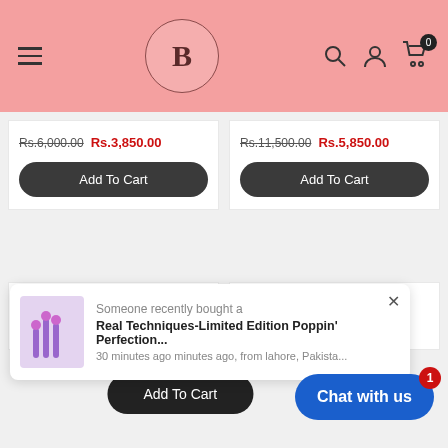[Figure (screenshot): E-commerce website header with pink background, hamburger menu icon, circular B logo, search icon, user icon, and cart icon with badge showing 0]
Rs.6,000.00  Rs.3,850.00
Add To Cart
Rs.11,500.00  Rs.5,850.00
Add To Cart
Someone recently bought a
Real Techniques-Limited Edition Poppin' Perfection...
30 minutes ago minutes ago, from lahore, Pakista...
Chat with us
Add To Cart